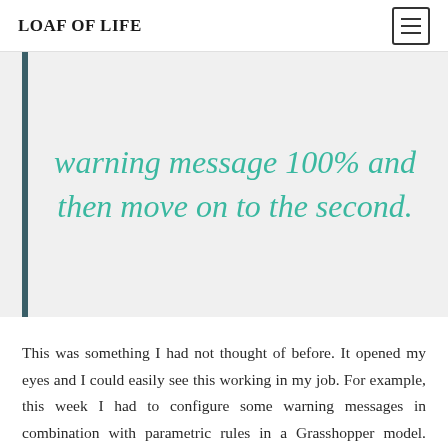LOAF OF LIFE
warning message 100% and then move on to the second.
This was something I had not thought of before. It opened my eyes and I could easily see this working in my job. For example, this week I had to configure some warning messages in combination with parametric rules in a Grasshopper model. What I could have done is first model all warning